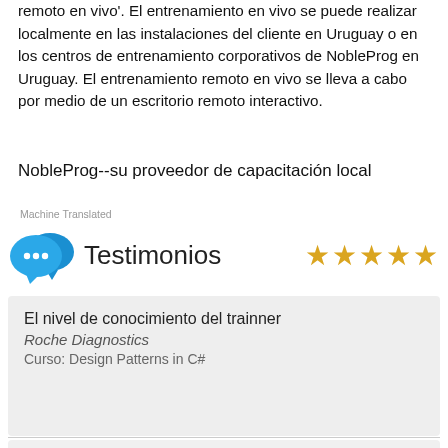remoto en vivo'. El entrenamiento en vivo se puede realizar localmente en las instalaciones del cliente en Uruguay o en los centros de entrenamiento corporativos de NobleProg en Uruguay. El entrenamiento remoto en vivo se lleva a cabo por medio de un escritorio remoto interactivo.
NobleProg--su proveedor de capacitación local
Machine Translated
Testimonios
El nivel de conocimiento del trainner
Roche Diagnostics
Curso: Design Patterns in C#
los ejrcicios
SERVICIO ELECTRONICO DE PAGO S.A.